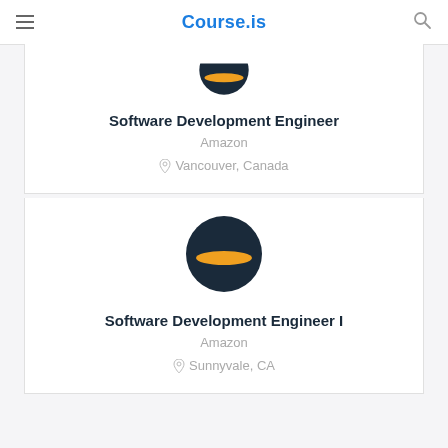Course.is
[Figure (logo): Amazon logo circle with dark navy background and orange stripe, partially cropped at top]
Software Development Engineer
Amazon
Vancouver, Canada
[Figure (logo): Amazon logo circle with dark navy background and orange stripe, full circle]
Software Development Engineer I
Amazon
Sunnyvale, CA